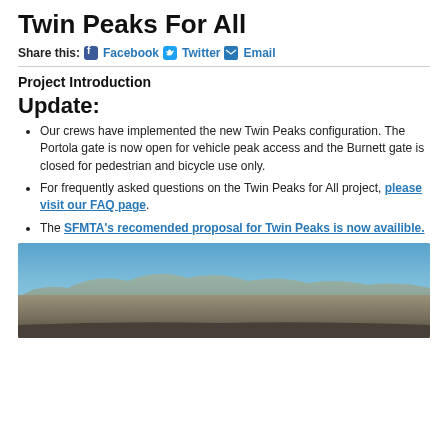Twin Peaks For All
Share this: Facebook Twitter Email
Project Introduction
Update:
Our crews have implemented the new Twin Peaks configuration. The Portola gate is now open for vehicle peak access and the Burnett gate is closed for pedestrian and bicycle use only.
For frequently asked questions on the Twin Peaks for All project, please visit our FAQ page.
The SFMTA's recomended proposal for Twin Peaks is now availible.
[Figure (photo): Panoramic aerial view of San Francisco cityscape from Twin Peaks, showing urban neighborhoods with hills and blue sky in background.]